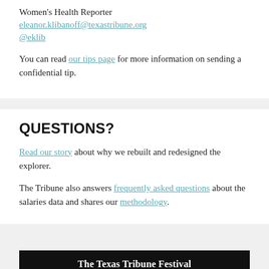Women's Health Reporter
eleanor.klibanoff@texastribune.org
@eklib
You can read our tips page for more information on sending a confidential tip.
QUESTIONS?
Read our story about why we rebuilt and redesigned the explorer.
The Tribune also answers frequently asked questions about the salaries data and shares our methodology.
[Figure (other): The Texas Tribune Festival banner. Black background with white text reading 'The Texas Tribune Festival' and 'Sept. 22-24, 2022 | Downtown Austin']